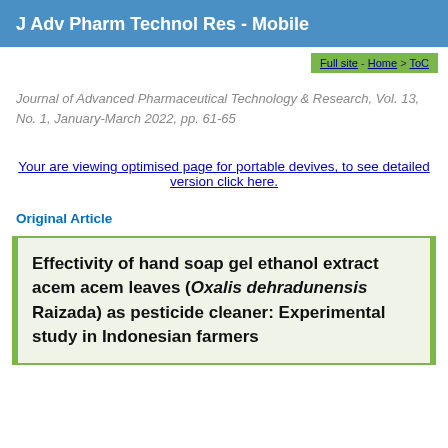J Adv Pharm Technol Res - Mobile
Full site - Home > ToC
Journal of Advanced Pharmaceutical Technology & Research, Vol. 13, No. 1, January-March 2022, pp. 61-65
Your are viewing optimised page for portable devives, to see detailed version click here.
Original Article
Effectivity of hand soap gel ethanol extract acem acem leaves (Oxalis dehradunensis Raizada) as pesticide cleaner: Experimental study in Indonesian farmers